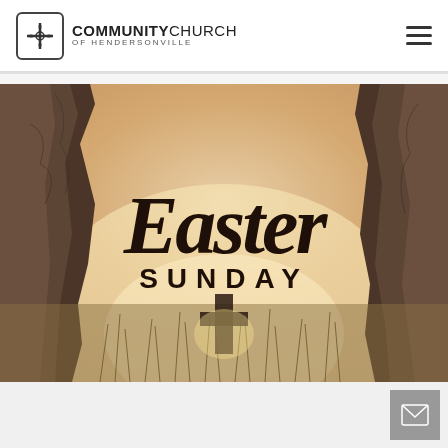[Figure (logo): Community Church of Hendersonville logo — cross icon in rounded square border, with text COMMUNITYCHURCH OF HENDERSONVILLE]
[Figure (illustration): Easter Sunday hero image: view from inside a cave/tomb looking out through rocky sides at a golden sunrise over a field with tall grass and a silhouetted cross. Text overlay reads 'Easter SUNDAY' in dark script and serif/sans fonts.]
[Figure (other): Gray email/envelope icon button in the bottom-right corner]